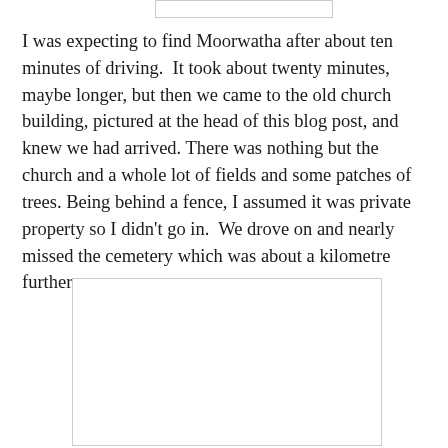[Figure (photo): Top image placeholder box, partially visible at top of page]
I was expecting to find Moorwatha after about ten minutes of driving.  It took about twenty minutes, maybe longer, but then we came to the old church building, pictured at the head of this blog post, and knew we had arrived. There was nothing but the church and a whole lot of fields and some patches of trees. Being behind a fence, I assumed it was private property so I didn't go in.  We drove on and nearly missed the cemetery which was about a kilometre further on.
[Figure (photo): Bottom image placeholder box, partially visible at bottom of page]